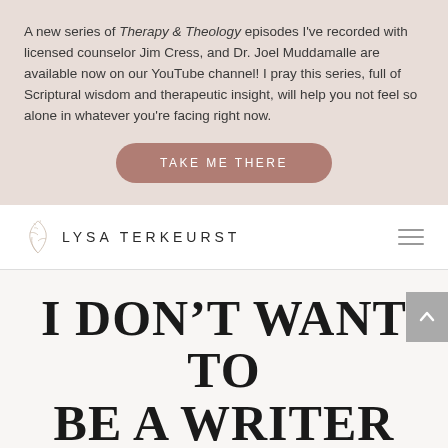A new series of Therapy & Theology episodes I've recorded with licensed counselor Jim Cress, and Dr. Joel Muddamalle are available now on our YouTube channel! I pray this series, full of Scriptural wisdom and therapeutic insight, will help you not feel so alone in whatever you're facing right now.
[Figure (other): Button labeled TAKE ME THERE with rounded rectangle shape in muted rose/terracotta color]
[Figure (logo): Lysa TerKeurst logo with leaf/botanical illustration and name in spaced uppercase letters]
I DON'T WANT TO BE A WRITER
October 4, 2013